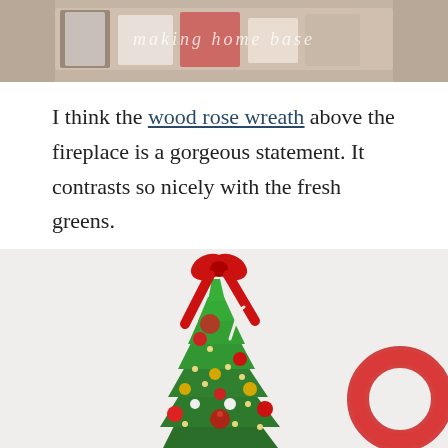[Figure (photo): Top portion of a photo showing a wooden tray with decorative items and a watermark text 'making home base']
I think the wood rose wreath above the fireplace is a gorgeous statement. It contrasts so nicely with the fresh greens.
[Figure (photo): Christmas tree decorated with red bow on top, red ornaments, gold ornaments, white ornaments, and string lights. A red wreath is visible on the wall to the right. White/light grey background.]